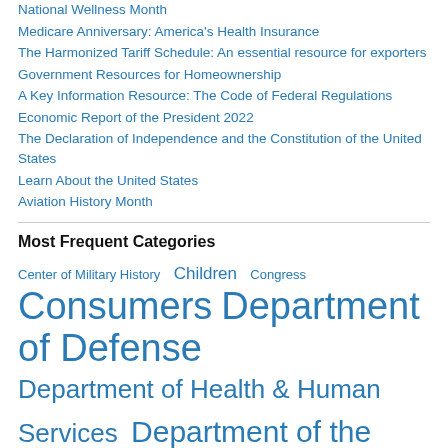National Wellness Month
Medicare Anniversary: America's Health Insurance
The Harmonized Tariff Schedule: An essential resource for exporters
Government Resources for Homeownership
A Key Information Resource: The Code of Federal Regulations
Economic Report of the President 2022
The Declaration of Independence and the Constitution of the United States
Learn About the United States
Aviation History Month
Most Frequent Categories
Center of Military History  Children  Congress  Consumers  Department of Defense  Department of Health & Human Services  Department of the Interior  ebooks  Family  Government Printing Office (GPO)